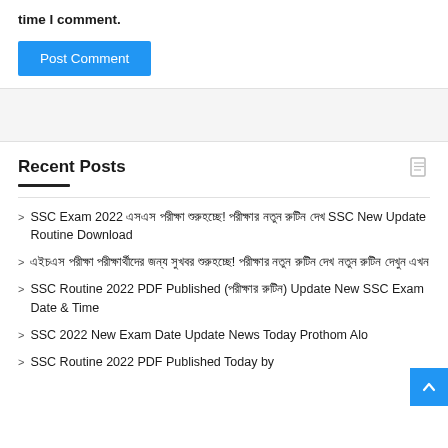time I comment.
Post Comment
Recent Posts
SSC Exam 2022 এসএস পরীক্ষা শুরুহচ্ছে! পরীক্ষার নতুন রুটিন দেখ SSC New Update Routine Download
এইচএস পরীক্ষা পরীক্ষার্থীদের জন্য সুখবর শুরুহচ্ছে! পরীক্ষার নতুন রুটিন দেখ নতুন রুটিন দেখুন এখন
SSC Routine 2022 PDF Published (পরীক্ষার রুটিন) Update New SSC Exam Date & Time
SSC 2022 New Exam Date Update News Today Prothom Alo
SSC Routine 2022 PDF Published Today by